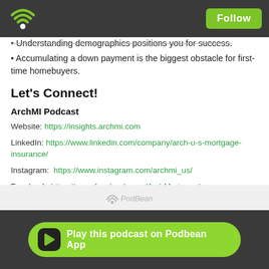Follow
Understanding demographics positions you for success.
Accumulating a down payment is the biggest obstacle for first-time homebuyers.
Let's Connect!
ArchMI Podcast
Website: https://insights.archmi.com
LinkedIn: https://www.linkedin.com/company/arch-u-s-mortgage-insurance/
Instagram: https://www.instagram.com/archmi_us/
Facebook: https://www.facebook.com/ArchMortgageInsurance
Twitter: https://twitter.com/archmi_us/
Play this podcast on Podbean App